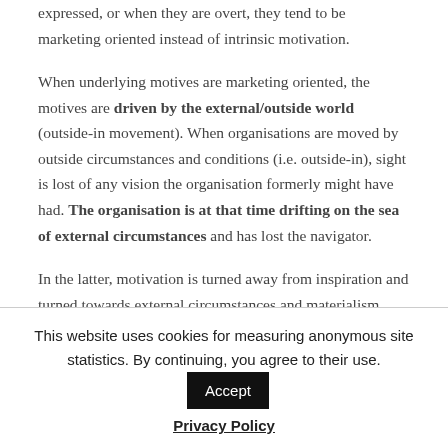expressed, or when they are overt, they tend to be marketing oriented instead of intrinsic motivation.
When underlying motives are marketing oriented, the motives are driven by the external/outside world (outside-in movement). When organisations are moved by outside circumstances and conditions (i.e. outside-in), sight is lost of any vision the organisation formerly might have had. The organisation is at that time drifting on the sea of external circumstances and has lost the navigator.
In the latter, motivation is turned away from inspiration and turned towards external circumstances and materialism.
This website uses cookies for measuring anonymous site statistics. By continuing, you agree to their use. Accept
Privacy Policy